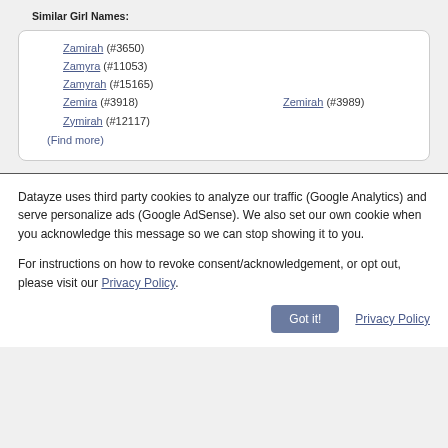Similar Girl Names:
Zamirah (#3650)
Zamyra (#11053)
Zamyrah (#15165)
Zemira (#3918)   Zemirah (#3989)
Zymirah (#12117)
(Find more)
Datayze uses third party cookies to analyze our traffic (Google Analytics) and serve personalize ads (Google AdSense). We also set our own cookie when you acknowledge this message so we can stop showing it to you.
For instructions on how to revoke consent/acknowledgement, or opt out, please visit our Privacy Policy.
Got it!   Privacy Policy